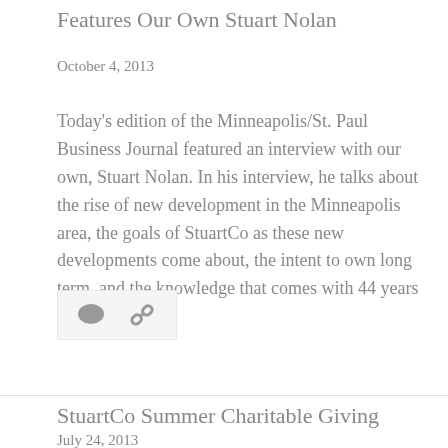Features Our Own Stuart Nolan
October 4, 2013
Today's edition of the Minneapolis/St. Paul Business Journal featured an interview with our own, Stuart Nolan. In his interview, he talks about the rise of new development in the Minneapolis area, the goals of StuartCo as these new developments come about, the intent to own long term, and the knowledge that comes with 44 years … More
[Figure (other): Comment and link icons in a light gray bar]
StuartCo Summer Charitable Giving
July 24, 2013